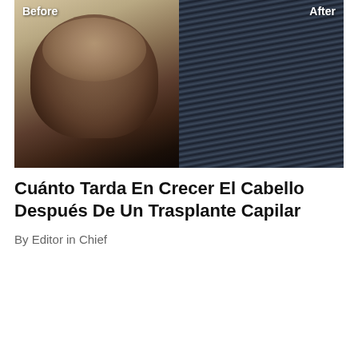[Figure (photo): Before and after comparison photo of a hair transplant. Left panel labeled 'Before' shows a top-down view of a man's head with significant hair thinning/balding on the crown. Right panel labeled 'After' shows a side view of the same man with full, thick dark hair.]
Cuánto Tarda En Crecer El Cabello Después De Un Trasplante Capilar
By Editor in Chief